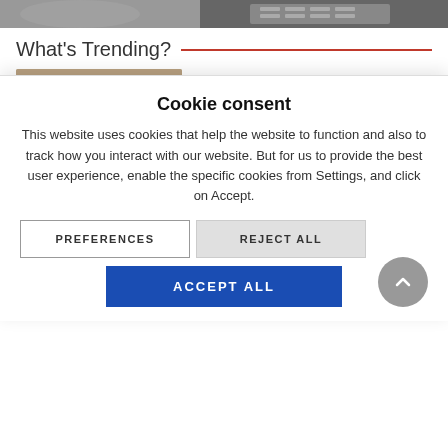[Figure (photo): Top banner image showing partial view of a person and a laptop]
What's Trending?
[Figure (photo): Close-up photo of a frothy drink in a glass cup, likely a tea or latte with spices on top]
Have a Cake and Sip it Too – SIP Cheesecake Tea
Read More »
[Figure (logo): Peculiar eyewear brand logo with text PECULIAR and glasses graphic on light blue background]
Protect Your Eyes, Get Your Peculiar Eyewear on Shopee 12.12 Big Christmas Sale
Cookie consent
This website uses cookies that help the website to function and also to track how you interact with our website. But for us to provide the best user experience, enable the specific cookies from Settings, and click on Accept.
PREFERENCES
REJECT ALL
ACCEPT ALL